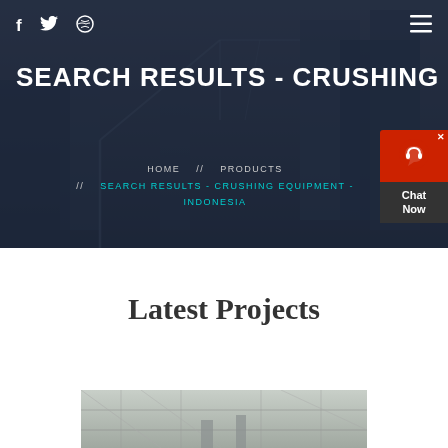f  🐦  ⊕   ≡
SEARCH RESULTS - CRUSHING E
HOME  //  PRODUCTS  //  SEARCH RESULTS - CRUSHING EQUIPMENT - INDONESIA
[Figure (screenshot): Chat widget with red header showing headphone icon and dark bottom with 'Chat Now' text]
Latest Projects
[Figure (photo): Industrial/construction interior showing structural framework and equipment]